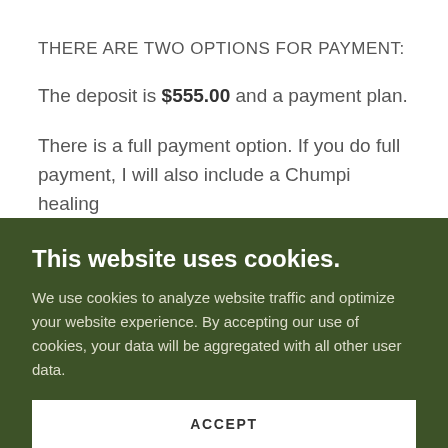THERE ARE TWO OPTIONS FOR PAYMENT:
The deposit is $555.00 and a payment plan.
There is a full payment option. If you do full payment, I will also include a Chumpi healing session during the retreat for each...
This website uses cookies.
We use cookies to analyze website traffic and optimize your website experience. By accepting our use of cookies, your data will be aggregated with all other user data.
ACCEPT